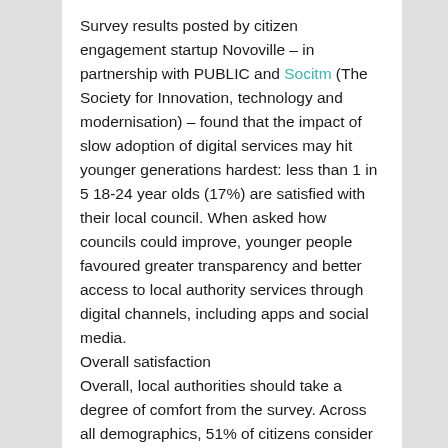Survey results posted by citizen engagement startup Novoville – in partnership with PUBLIC and Socitm (The Society for Innovation, technology and modernisation) – found that the impact of slow adoption of digital services may hit younger generations hardest: less than 1 in 5 18-24 year olds (17%) are satisfied with their local council. When asked how councils could improve, younger people favoured greater transparency and better access to local authority services through digital channels, including apps and social media.
Overall satisfaction
Overall, local authorities should take a degree of comfort from the survey. Across all demographics, 51% of citizens consider